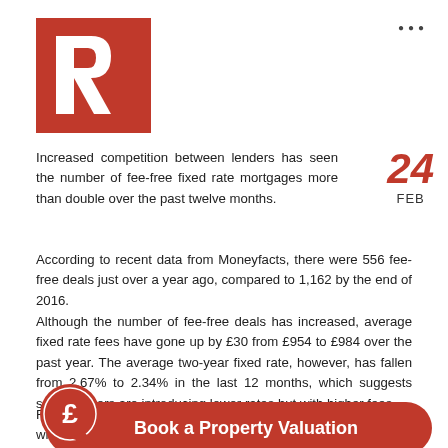[Figure (logo): Red square logo with white letter R cutout — Reeds Rains or similar property brand]
Increased competition between lenders has seen the number of fee-free fixed rate mortgages more than double over the past twelve months.
According to recent data from Moneyfacts, there were 556 fee-free deals just over a year ago, compared to 1,162 by the end of 2016.
Although the number of fee-free deals has increased, average fixed rate fees have gone up by £30 from £954 to £984 over the past year. The average two-year fixed rate, however, has fallen from 2.67% to 2.34% in the last 12 months, which suggests some lenders are introducing lower rates but with higher fees.
Fee-free mortgages have slightly higher rates than those which do charge a fee, but overall once fees are factored in.
[Figure (infographic): Red pound sign speech bubble icon and red pill-shaped CTA button reading 'Book a Property Valuation']